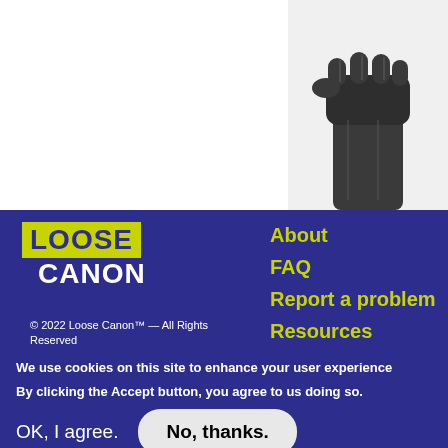[Figure (photo): Black and white photograph of a raised clenched fist, cropped to show from wrist to fist against a white background, positioned in the upper right of the page.]
[Figure (logo): Loose Canon logo: 'LOOSE' in dark blue text on yellow-green background, 'CANON' in white text on dark blue background.]
© 2022 Loose Canon™ — All Rights Reserved
About
FAQ
Report a problem
Resources
We use cookies on this site to enhance your user experience
By clicking the Accept button, you agree to us doing so.
OK, I agree.
No, thanks.